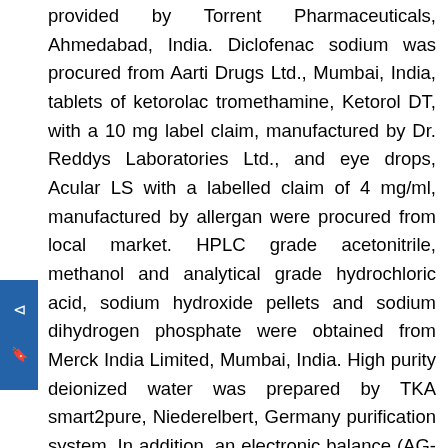provided by Torrent Pharmaceuticals, Ahmedabad, India. Diclofenac sodium was procured from Aarti Drugs Ltd., Mumbai, India, tablets of ketorolac tromethamine, Ketorol DT, with a 10 mg label claim, manufactured by Dr. Reddys Laboratories Ltd., and eye drops, Acular LS with a labelled claim of 4 mg/ml, manufactured by allergan were procured from local market. HPLC grade acetonitrile, methanol and analytical grade hydrochloric acid, sodium hydroxide pellets and sodium dihydrogen phosphate were obtained from Merck India Limited, Mumbai, India. High purity deionized water was prepared by TKA smart2pure, Niederelbert, Germany purification system. In addition, an electronic balance (AG-135, Mettler-Toledo, Germany), pH meter (pH tutor,